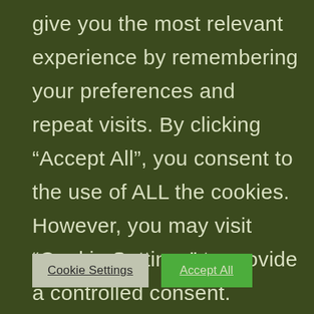give you the most relevant experience by remembering your preferences and repeat visits. By clicking “Accept All”, you consent to the use of ALL the cookies. However, you may visit "Cookie Settings" to provide a controlled consent.
Cookie Settings
Accept All